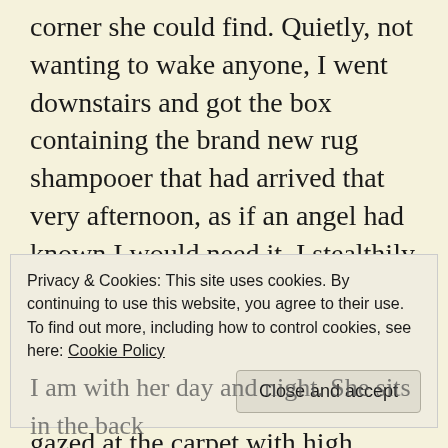corner she could find. Quietly, not wanting to wake anyone, I went downstairs and got the box containing the brand new rug shampooer that had arrived that very afternoon, as if an angel had known I would need it. I stealthily unpacked the machine, put it together, and used it and the shampoo that came with it (so convenient). Finished cleaning, I gazed at the carpet with high satisfaction. The machine worked better than I had ever imagined it would. Within an hour, my girl and I were back slumbering in our beds.
Privacy & Cookies: This site uses cookies. By continuing to use this website, you agree to their use.
To find out more, including how to control cookies, see here: Cookie Policy
Close and accept
I am with her day and night. She sits in the back